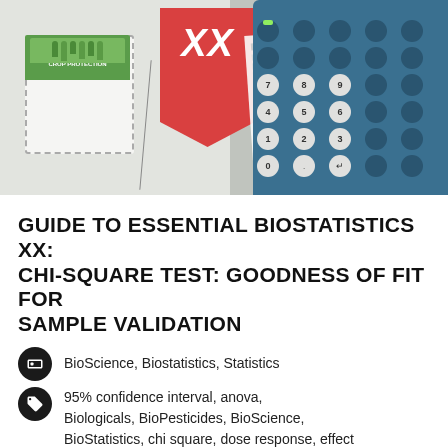[Figure (photo): Hero image showing a scientific guide booklet with a pocket illustration, a red banner bookmark with 'XX' text, a printed paper with text, and a blue scientific calculator with visible keypad]
GUIDE TO ESSENTIAL BIOSTATISTICS XX: CHI-SQUARE TEST: GOODNESS OF FIT FOR SAMPLE VALIDATION
BioScience, Biostatistics, Statistics
95% confidence interval, anova, Biologicals, BioPesticides, BioScience, BioStatistics, chi square, dose response, effect size, experimental design, f test, t hypothesis